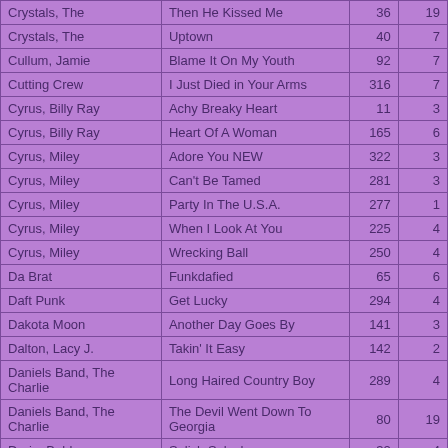| Artist | Song | Col3 | Col4 |
| --- | --- | --- | --- |
| Crystals, The | Then He Kissed Me | 36 | 19 |
| Crystals, The | Uptown | 40 | 7 |
| Cullum, Jamie | Blame It On My Youth | 92 | 7 |
| Cutting Crew | I Just Died in Your Arms | 316 | 7 |
| Cyrus, Billy Ray | Achy Breaky Heart | 11 | 3 |
| Cyrus, Billy Ray | Heart Of A Woman | 165 | 6 |
| Cyrus, Miley | Adore You NEW | 322 | 3 |
| Cyrus, Miley | Can't Be Tamed | 281 | 3 |
| Cyrus, Miley | Party In The U.S.A. | 277 | 1 |
| Cyrus, Miley | When I Look At You | 225 | 4 |
| Cyrus, Miley | Wrecking Ball | 250 | 4 |
| Da Brat | Funkdafied | 65 | 6 |
| Daft Punk | Get Lucky | 294 | 4 |
| Dakota Moon | Another Day Goes By | 141 | 3 |
| Dalton, Lacy J. | Takin' It Easy | 142 | 2 |
| Daniels Band, The Charlie | Long Haired Country Boy | 289 | 4 |
| Daniels Band, The Charlie | The Devil Went Down To Georgia | 80 | 19 |
| Darin, Bobby | Splish Splash | 32 | 4 |
| Daughtry | Home | 254 | 16 |
| Daughtry | Life After You | 279 | 8 |
| Daughtry | No Surprise | 316 | 6 |